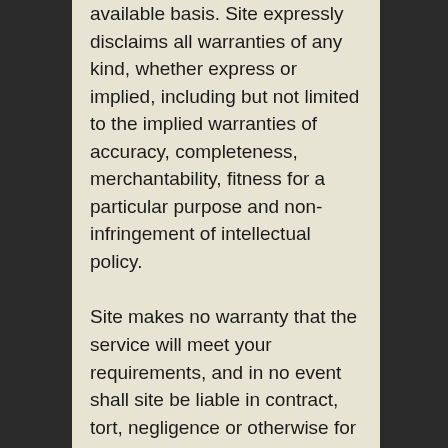available basis. Site expressly disclaims all warranties of any kind, whether express or implied, including but not limited to the implied warranties of accuracy, completeness, merchantability, fitness for a particular purpose and non-infringement of intellectual policy.
Site makes no warranty that the service will meet your requirements, and in no event shall site be liable in contract, tort, negligence or otherwise for any damages whatsoever (including, without limitation, damages for loss of profits, business interruption, loss of information) arising out of the use of or inability to use the materials, even if site has been advised of the possibility of such damages. Site does not...